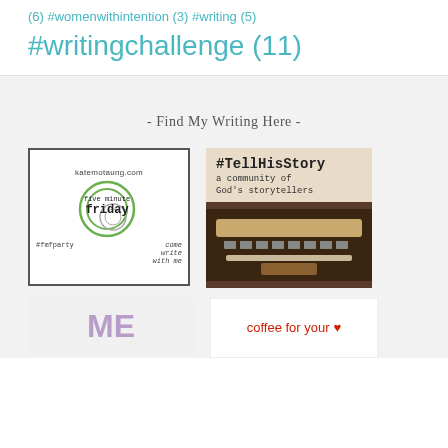(6) #womenwithintention (3) #writing (5)
#writingchallenge (11)
- Find My Writing Here -
[Figure (logo): Five Minute Friday badge with katemotaung.com text, circular spiral design, and #fmfparty hashtag]
[Figure (logo): #TellHisStory logo reading 'a community of God's storytellers' with typewriter image]
[Figure (logo): ME logo in purple/lavender letters]
[Figure (logo): coffee for your heart logo with red heart symbol]